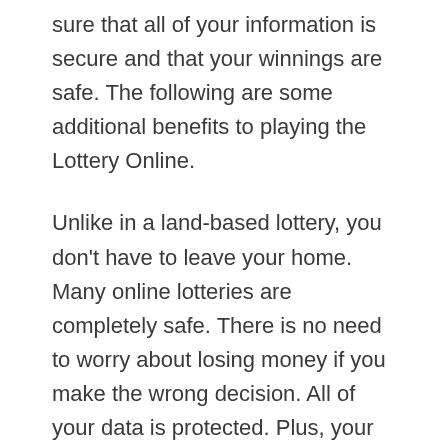sure that all of your information is secure and that your winnings are safe. The following are some additional benefits to playing the Lottery Online.
Unlike in a land-based lottery, you don't have to leave your home. Many online lotteries are completely safe. There is no need to worry about losing money if you make the wrong decision. All of your data is protected. Plus, your privacy is guaranteed. You can play from your home, office, or even your smartphone. Regardless of where you are in the world, you're sure to find a lottery that suits your preferences and interests.